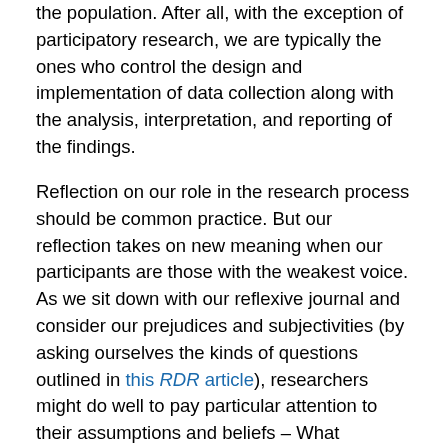the population. After all, with the exception of participatory research, we are typically the ones who control the design and implementation of data collection along with the analysis, interpretation, and reporting of the findings.
Reflection on our role in the research process should be common practice. But our reflection takes on new meaning when our participants are those with the weakest voice. As we sit down with our reflexive journal and consider our prejudices and subjectivities (by asking ourselves the kinds of questions outlined in this RDR article), researchers might do well to pay particular attention to their assumptions and beliefs – What assumptions did I make about the participant(s)? and How did my personal values, beliefs, life story, and/or social/economic status affect or shape: the questions I asked, the interjections I made, my listening skills, and/or